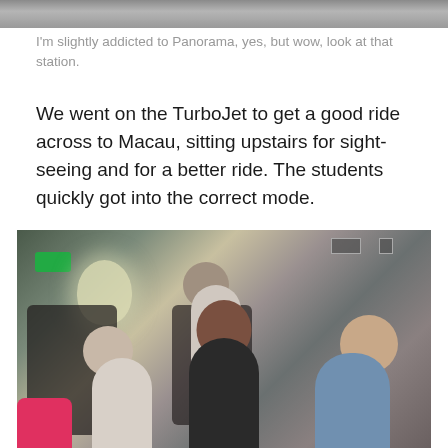[Figure (photo): Top portion of a panoramic photo showing a station interior, partially cropped at top of page.]
I'm slightly addicted to Panorama, yes, but wow, look at that station.
We went on the TurboJet to get a good ride across to Macau, sitting upstairs for sight-seeing and for a better ride. The students quickly got into the correct mode.
[Figure (photo): Photo of students sitting on the upper deck of a TurboJet ferry, with seats and ferry interior visible. Several young people are seated in dark checkered seats.]